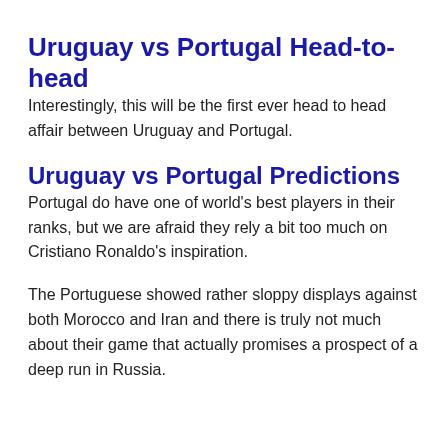Uruguay vs Portugal Head-to-head
Interestingly, this will be the first ever head to head affair between Uruguay and Portugal.
Uruguay vs Portugal Predictions
Portugal do have one of world’s best players in their ranks, but we are afraid they rely a bit too much on Cristiano Ronaldo’s inspiration.
The Portuguese showed rather sloppy displays against both Morocco and Iran and there is truly not much about their game that actually promises a prospect of a deep run in Russia.